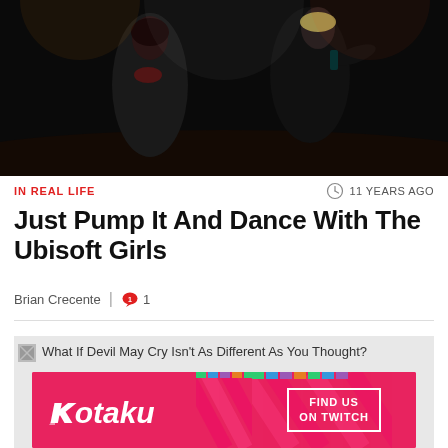[Figure (photo): Two women dancing on a dark stage, one with short light hair wearing black, the other with dark hair wearing black with red accents]
IN REAL LIFE
11 YEARS AGO
Just Pump It And Dance With The Ubisoft Girls
Brian Crecente | 💬 1
[Figure (screenshot): Broken image placeholder with alt text: What If Devil May Cry Isn't As Different As You Thought?]
[Figure (logo): Kotaku Find Us On Twitch banner advertisement]